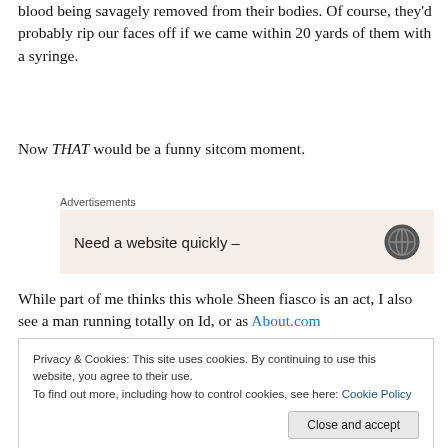blood being savagely removed from their bodies. Of course, they'd probably rip our faces off if we came within 20 yards of them with a syringe.
Now THAT would be a funny sitcom moment.
[Figure (other): Advertisement box with text 'Need a website quickly –' and a circular icon on the right, on a light pinkish background. Labeled 'Advertisements' above.]
While part of me thinks this whole Sheen fiasco is an act, I also see a man running totally on Id, or as About.com
Privacy & Cookies: This site uses cookies. By continuing to use this website, you agree to their use.
To find out more, including how to control cookies, see here: Cookie Policy